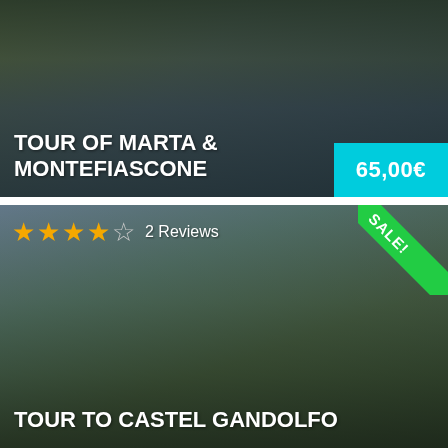[Figure (photo): Lakeside town photo with water reflections - Tour of Marta & Montefiascone card]
TOUR OF MARTA & MONTEFIASCONE
65,00€
[Figure (photo): Italian villa garden with statues and trimmed hedges - Tour to Castel Gandolfo card]
★★★★☆  2 Reviews
SALE!
TOUR TO CASTEL GANDOLFO